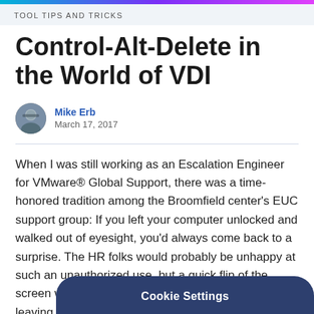Tool Tips and Tricks
Control-Alt-Delete in the World of VDI
Mike Erb
March 17, 2017
When I was still working as an Escalation Engineer for VMware® Global Support, there was a time-honored tradition among the Broomfield center's EUC support group: If you left your computer unlocked and walked out of eyesight, you'd always come back to a surprise. The HR folks would probably be unhappy at such an unauthorized use, but a quick flip of the screen with Ctrl-Alt-Up and a dash back to your desk leaving their display inverted and the surrou